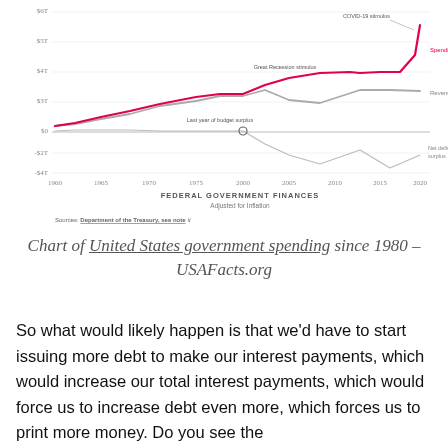[Figure (line-chart): Line chart showing US federal government Spending (pink/red line) and Revenue (gray line) from 1960 to 2020, with annotations for 'COVID-19 stimulus', 'Spending', 'Revenue', 'Great Recession stimulus', 'Last year of budget surplus', and 'Net deficit or surplus'. Y-axis ranges from about -$4T to $7T.]
Chart of United States government spending since 1980 – USAFacts.org
So what would likely happen is that we'd have to start issuing more debt to make our interest payments, which would increase our total interest payments, which would force us to increase debt even more, which forces us to print more money. Do you see the